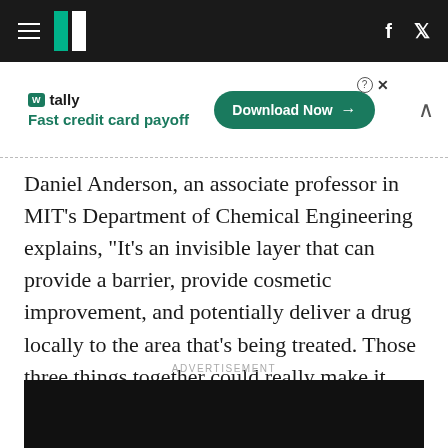HuffPost navigation bar with hamburger menu, logo, Facebook and Twitter icons
[Figure (infographic): Tally advertisement banner: 'Fast credit card payoff' with a 'Download Now' button]
Daniel Anderson, an associate professor in MIT's Department of Chemical Engineering explains, "It's an invisible layer that can provide a barrier, provide cosmetic improvement, and potentially deliver a drug locally to the area that's being treated. Those three things together could really make it ideal for use in humans,"
ADVERTISEMENT
[Figure (other): Black advertisement placeholder rectangle at bottom of page]